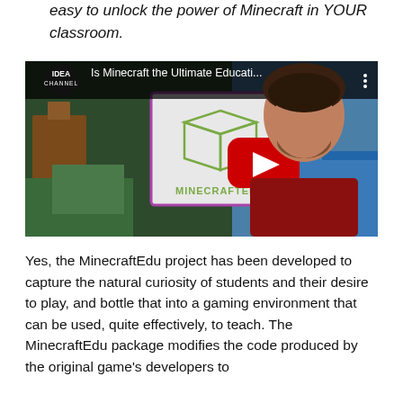easy to unlock the power of Minecraft in YOUR classroom.
[Figure (screenshot): YouTube video thumbnail showing 'Is Minecraft the Ultimate Educati...' from the Idea Channel, with a man in a red shirt, a MinecraftEdu logo overlay, and a red play button in the center.]
Yes, the MinecraftEdu project has been developed to capture the natural curiosity of students and their desire to play, and bottle that into a gaming environment that can be used, quite effectively, to teach. The MinecraftEdu package modifies the code produced by the original game's developers to